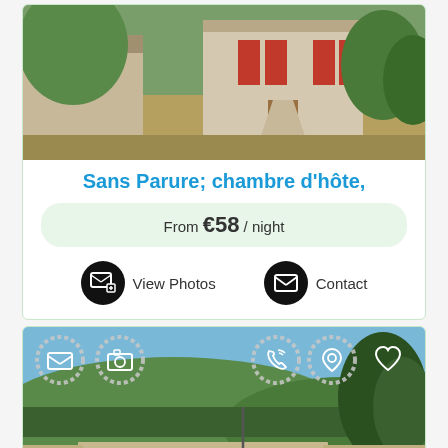[Figure (photo): Exterior of a French country house/farmhouse with red shutters and garden, sunny day]
Sans Parure; chambre d'hôte,
From €58 / night
View Photos
Contact
[Figure (photo): Swimming pool in a countryside garden with hills and trees in the background, with overlay gear/action icons for email, camera, phone, location, and favorite]